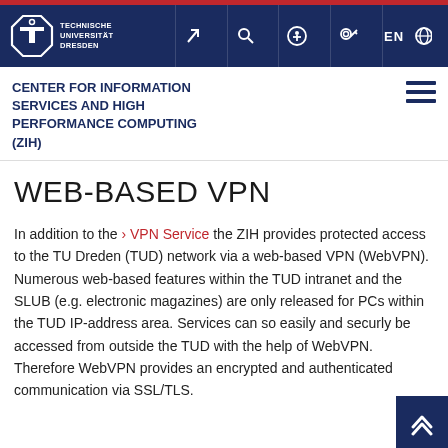[Figure (logo): Technische Universität Dresden logo with navigation bar icons (arrow, magnifier, accessibility, key, EN/language) on dark navy background]
CENTER FOR INFORMATION SERVICES AND HIGH PERFORMANCE COMPUTING (ZIH)
WEB-BASED VPN
In addition to the >VPN Service the ZIH provides protected access to the TU Dreden (TUD) network via a web-based VPN (WebVPN). Numerous web-based features within the TUD intranet and the SLUB (e.g. electronic magazines) are only released for PCs within the TUD IP-address area. Services can so easily and securly be accessed from outside the TUD with the help of WebVPN. Therefore WebVPN provides an encrypted and authenticated communication via SSL/TLS.